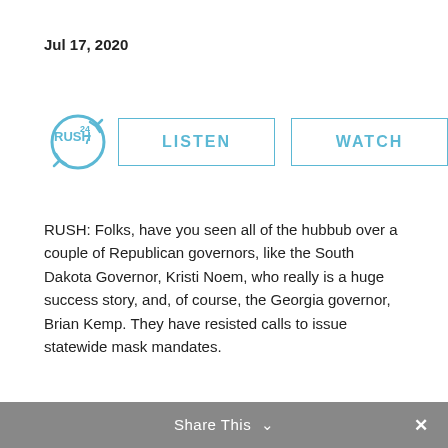Jul 17, 2020
[Figure (logo): Rush 24/7 logo with LISTEN and WATCH buttons]
RUSH: Folks, have you seen all of the hubbub over a couple of Republican governors, like the South Dakota Governor, Kristi Noem, who really is a huge success story, and, of course, the Georgia governor, Brian Kemp. They have resisted calls to issue statewide mask mandates.
Share This  ✕